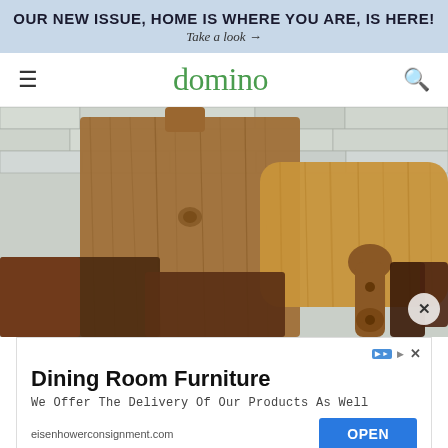OUR NEW ISSUE, HOME IS WHERE YOU ARE, IS HERE!
Take a look →
domino
[Figure (photo): Multiple wooden cutting boards of various shapes, sizes, and wood types leaning against a white brick wall. Boards range from dark walnut to light ash, with rounded and rectangular shapes.]
[Figure (other): Advertisement for Dining Room Furniture from eisenhowerconsignment.com with an OPEN button]
Dining Room Furniture
We Offer The Delivery Of Our Products As Well
eisenhowerconsignment.com